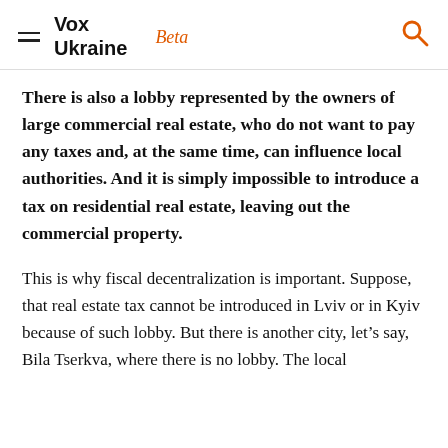Vox Ukraine Beta
There is also a lobby represented by the owners of large commercial real estate, who do not want to pay any taxes and, at the same time, can influence local authorities. And it is simply impossible to introduce a tax on residential real estate, leaving out the commercial property.
This is why fiscal decentralization is important. Suppose, that real estate tax cannot be introduced in Lviv or in Kyiv because of such lobby. But there is another city, let’s say, Bila Tserkva, where there is no lobby. The local